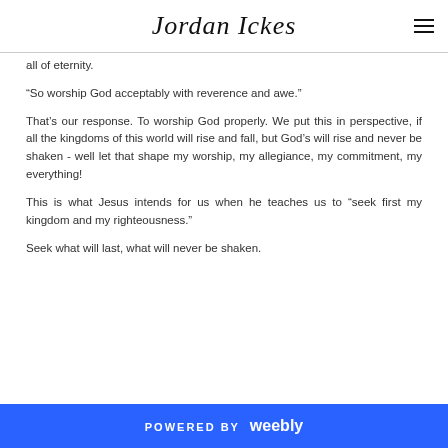Jordan Ickes
all of eternity.
“So worship God acceptably with reverence and awe.”
That’s our response. To worship God properly. We put this in perspective, if all the kingdoms of this world will rise and fall, but God’s will rise and never be shaken - well let that shape my worship, my allegiance, my commitment, my everything!
This is what Jesus intends for us when he teaches us to “seek first my kingdom and my righteousness.”
Seek what will last, what will never be shaken.
POWERED BY weebly